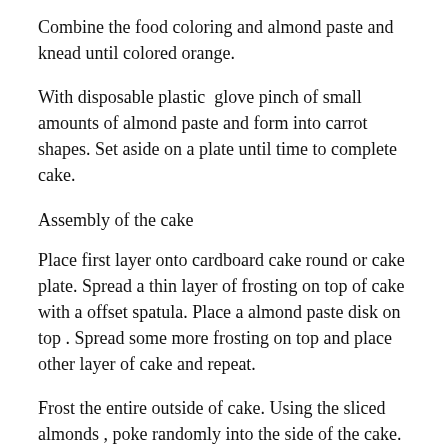Combine the food coloring and almond paste and knead until colored orange.
With disposable plastic glove pinch of small amounts of almond paste and form into carrot shapes. Set aside on a plate until time to complete cake.
Assembly of the cake
Place first layer onto cardboard cake round or cake plate. Spread a thin layer of frosting on top of cake with a offset spatula. Place a almond paste disk on top . Spread some more frosting on top and place other layer of cake and repeat.
Frost the entire outside of cake. Using the sliced almonds , poke randomly into the side of the cake.